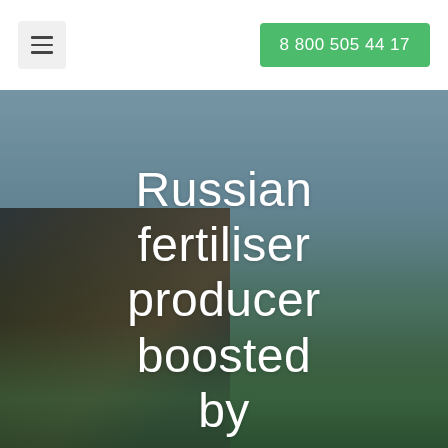8 800 505 44 17
[Figure (photo): A farming tractor/sprayer machine in a green agricultural field under a blue-grey sky, shown from the left side. The image serves as a hero banner background for a Russian fertiliser producer website.]
Russian fertiliser producer boosted by